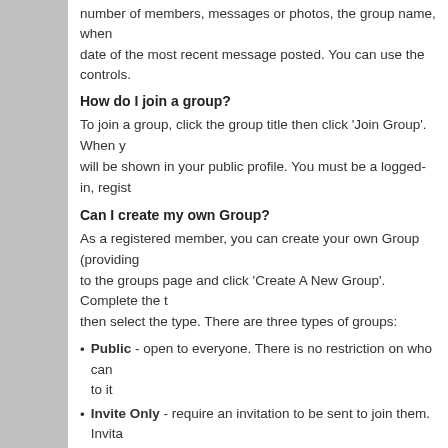number of members, messages or photos, the group name, when date of the most recent message posted. You can use the controls.
How do I join a group?
To join a group, click the group title then click 'Join Group'. When y will be shown in your public profile. You must be a logged-in, regist
Can I create my own Group?
As a registered member, you can create your own Group (providing to the groups page and click 'Create A New Group'. Complete the t then select the type. There are three types of groups:
Public - open to everyone. There is no restriction on who can to it
Invite Only - require an invitation to be sent to join them. Invita group creator or forum moderators and administrators. Invitatio & Invited Members' at the bottom of the page for that individua
Moderated - open to everyone to join but messages need to b appear. They are moderated by the group creator and the site
Friends and Contacts
What is the difference between a friend and a contact?
A friendship is a mutual, two-way relationship between two users. accepted by the other.